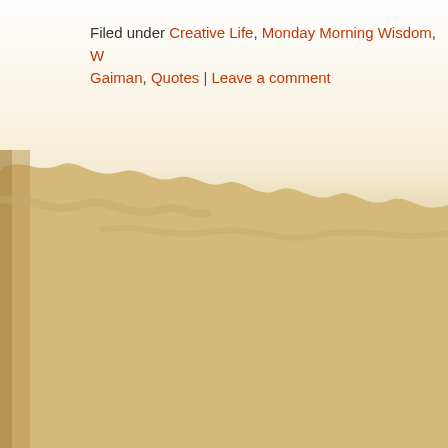[Figure (illustration): Background image with white/cream area at top transitioning into a sandy tan/beige textured area below, with a rough painted edge border between the two zones.]
Filed under Creative Life, Monday Morning Wisdom, W... Gaiman, Quotes | Leave a comment